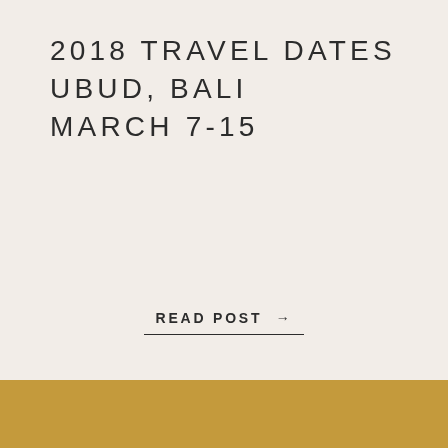2018 TRAVEL DATES UBUD, BALI MARCH 7-15
READ POST →